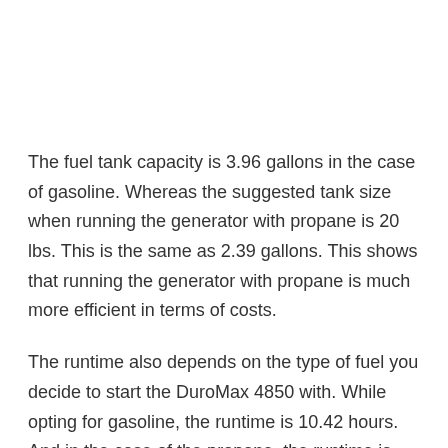The fuel tank capacity is 3.96 gallons in the case of gasoline. Whereas the suggested tank size when running the generator with propane is 20 lbs. This is the same as 2.39 gallons. This shows that running the generator with propane is much more efficient in terms of costs.
The runtime also depends on the type of fuel you decide to start the DuroMax 4850 with. While opting for gasoline, the runtime is 10.42 hours. And in the case of the propane, the runtime is 8.92 hours. Both calculations are made taking into consideration a 50% load.